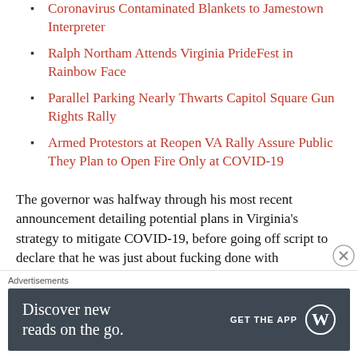Coronavirus Contaminated Blankets to Jamestown Interpreter
Ralph Northam Attends Virginia PrideFest in Rainbow Face
Parallel Parking Nearly Thwarts Capitol Square Gun Rights Rally
Armed Protestors at Reopen VA Rally Assure Public They Plan to Open Fire Only at COVID-19
The governor was halfway through his most recent announcement detailing potential plans in Virginia’s strategy to mitigate COVID-19, before going off script to declare that he was just about fucking done with everything.
“You know what? Fuck it,” Northam impatiently exclaimed, before balling up his prepared speech
Advertisements
[Figure (infographic): WordPress app advertisement banner: 'Discover new reads on the go.' with GET THE APP button and WordPress logo on dark background.]